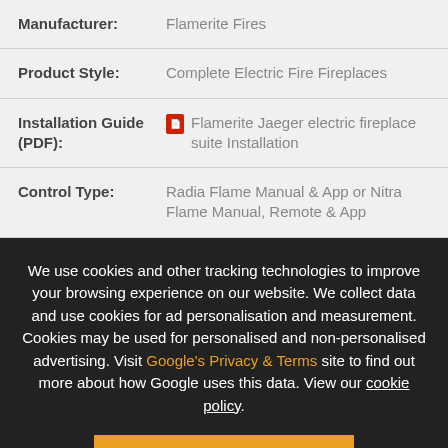| Field | Value |
| --- | --- |
| Manufacturer: | Flamerite Fires |
| Product Style: | Complete Electric Fire Fireplaces |
| Installation Guide (PDF): | Flamerite Jaeger electric fireplace suite Installation |
| Control Type: | Radia Flame Manual & App or Nitra Flame Manual, Remote & App |
We use cookies and other tracking technologies to improve your browsing experience on our website. We collect data and use cookies for ad personalisation and measurement. Cookies may be used for personalised and non-personalised advertising. Visit Google's Privacy & Terms site to find out more about how Google uses this data. View our cookie policy.
ACCEPT & CLOSE